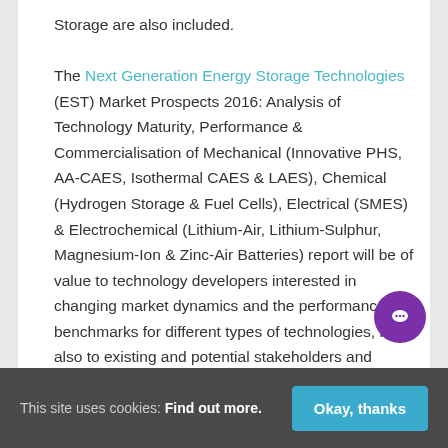Storage are also included.

The Next Generation Energy Storage Technologies (EST) Market Prospects 2016: Analysis of Technology Maturity, Performance & Commercialisation of Mechanical (Innovative PHS, AA-CAES, Isothermal CAES & LAES), Chemical (Hydrogen Storage & Fuel Cells), Electrical (SMES) & Electrochemical (Lithium-Air, Lithium-Sulphur, Magnesium-Ion & Zinc-Air Batteries) report will be of value to technology developers interested in changing market dynamics and the performance benchmarks for different types of technologies, but also to existing and potential stakeholders and investors in the EST industry. It will be useful for
This site uses cookies: Find out more. Okay, thanks